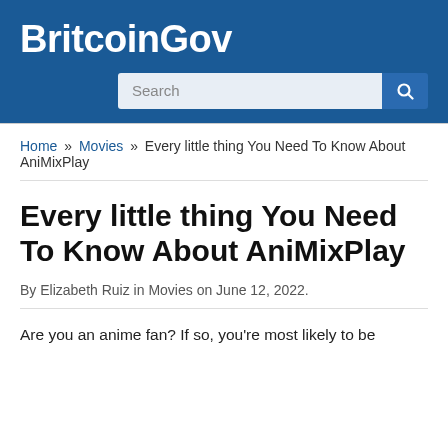BritcoinGov
Search
Home » Movies » Every little thing You Need To Know About AniMixPlay
Every little thing You Need To Know About AniMixPlay
By Elizabeth Ruiz in Movies on June 12, 2022.
Are you an anime fan? If so, you're most likely to be